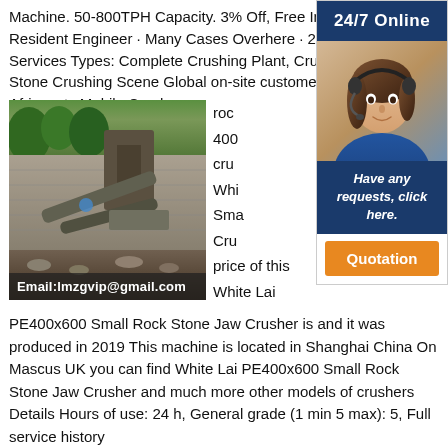Machine. 50-800TPH Capacity. 3% Off, Free Inquiry Online! Resident Engineer · Many Cases Overhere · 24/7 Online Services Types: Complete Crushing Plant, Crushing Equipment Stone Crushing Scene Global on-site customer service South Africa, etc Mobile Crusher on
[Figure (other): Advertisement banner with a woman wearing a headset, dark blue background, text: 24/7 Online, Have any requests, click here. Quotation button in orange.]
[Figure (photo): Photo of a rock crushing plant/machine facility with conveyor belts and stone walls, with overlay text: Email:lmzgvip@gmail.com]
rock 400 crus Whi Sma Cru price of this White Lai
PE400x600 Small Rock Stone Jaw Crusher is and it was produced in 2019 This machine is located in Shanghai China On Mascus UK you can find White Lai PE400x600 Small Rock Stone Jaw Crusher and much more other models of crushers Details Hours of use: 24 h, General grade (1 min 5 max): 5, Full service history